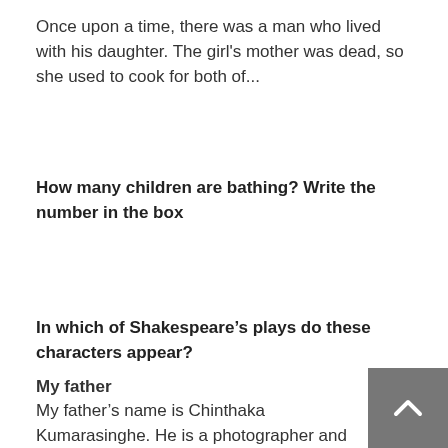Once upon a time, there was a man who lived with his daughter. The girl's mother was dead, so she used to cook for both of...
How many children are bathing? Write the number in the box
In which of Shakespeare’s plays do these characters appear?
My father
My father’s name is Chinthaka Kumarasinghe. He is a photographer and is 52 years old. He is very kind, generouse and...